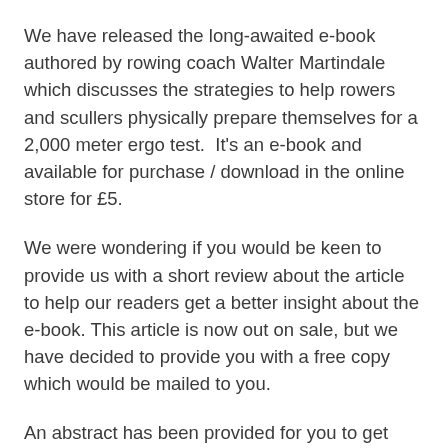We have released the long-awaited e-book authored by rowing coach Walter Martindale which discusses the strategies to help rowers and scullers physically prepare themselves for a 2,000 meter ergo test.  It's an e-book and available for purchase / download in the online store for £5.
We were wondering if you would be keen to provide us with a short review about the article to help our readers get a better insight about the e-book. This article is now out on sale, but we have decided to provide you with a free copy which would be mailed to you.
An abstract has been provided for you to get better insight about the issues discussed in the article.
Today, most rowing programmes around the world use some form of rowing machines to assess the physical